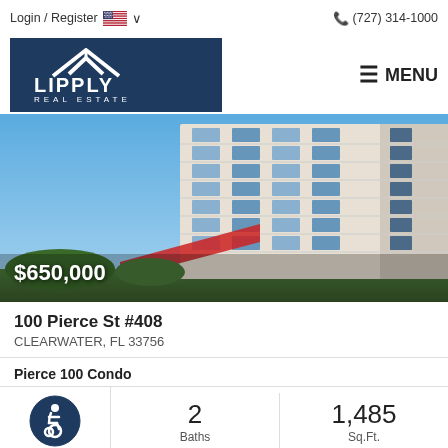Login / Register   🇺🇸 ∨        ☎ (727) 314-1000
[Figure (logo): Lipply Real Estate logo — white roof/house icon over text LIPPLY REAL ESTATE on dark navy background]
≡ MENU
[Figure (photo): Photograph of a white multi-story condominium building with balconies against a blue sky. Price overlay reads $650,000.]
100 Pierce St #408
CLEARWATER, FL 33756
Pierce 100 Condo
2 Baths
1,485 Sq.Ft.